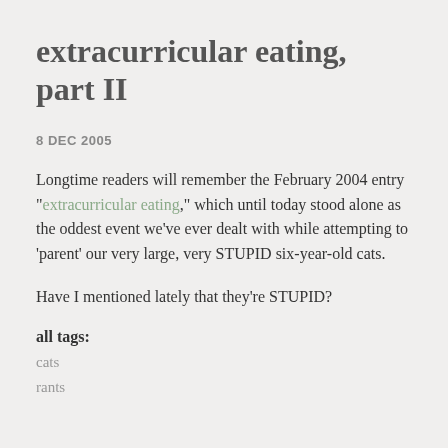extracurricular eating, part II
8 DEC 2005
Longtime readers will remember the February 2004 entry "extracurricular eating," which until today stood alone as the oddest event we've ever dealt with while attempting to 'parent' our very large, very STUPID six-year-old cats.
Have I mentioned lately that they're STUPID?
all tags:
cats
rants